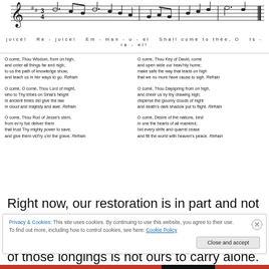[Figure (illustration): Musical staff with notes for 'O Come O Come Emmanuel' hymn]
joice! Re-joice! Em- man - u - el Shall come to thee, O Is - ra - el!
O come, Thou Wisdom, from on high,
and order all things far and nigh;
to us the path of knowledge show,
and teach us in her ways to go. Refrain

O come, O come, Thou Lord of might,
who to Thy tribes on Sinai's height
in ancient times did give the law
in cloud and majesty and awe. Refrain

O come, Thou Rod of Jesse's stem,
from ev'ry foe deliver them
that trust Thy mighty power to save,
and give them vict'ry o'er the grave. Refrain
O come, Thou Key of David, come
and open wide our heav'nly home;
make safe the way that leads on high
that we no more have cause to sigh. Refrain

O come, Thou Dayspring from on high,
and cheer us by thy drawing nigh;
disperse the gloomy clouds of night
and death's dark shadow put to flight. Refrain

O come, Desire of the nations, bind
in one the hearts of all mankind;
bid every strife and quarrel cease
and fill the world with heaven's peace. Refrain
Right now, our restoration is in part and not whole. We are heavy with the need that is in and around us each day. But the weight of those longings is not ours to carry alone. At
Privacy & Cookies: This site uses cookies. By continuing to use this website, you agree to their use.
To find out more, including how to control cookies, see here: Cookie Policy
Close and accept